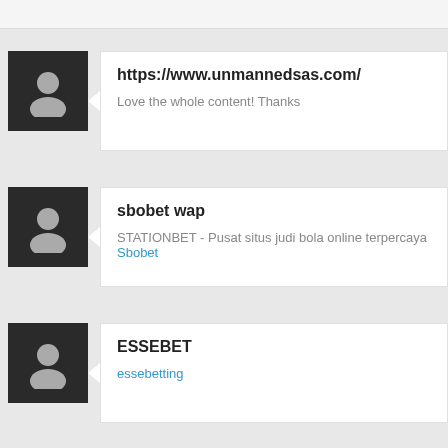[Figure (other): Top partial card strip]
https://www.unmannedsas.com/
Love the whole content! Thanks
sbobet wap
STATIONBET - Pusat situs judi bola online terpercaya Sbobet
ESSEBET
essebetting